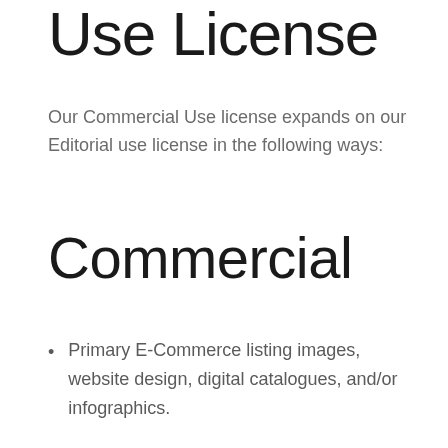Use License
Our Commercial Use license expands on our Editorial use license in the following ways:
Commercial
Primary E-Commerce listing images, website design, digital catalogues, and/or infographics.